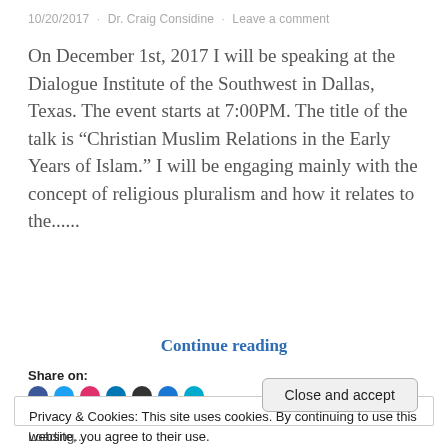10/20/2017 · Dr. Craig Considine · Leave a comment
On December 1st, 2017 I will be speaking at the Dialogue Institute of the Southwest in Dallas, Texas. The event starts at 7:00PM. The title of the talk is “Christian Muslim Relations in the Early Years of Islam.” I will be engaging mainly with the concept of religious pluralism and how it relates to the......
Continue reading
Share on:
Privacy & Cookies: This site uses cookies. By continuing to use this website, you agree to their use.
To find out more, including how to control cookies, see here: Cookie Policy
Close and accept
Loading...